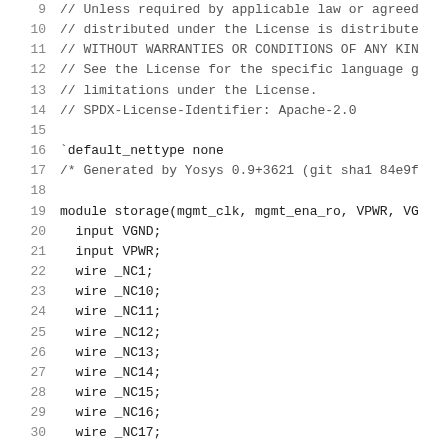9  // Unless required by applicable law or agreed
10  // distributed under the License is distribute
11  // WITHOUT WARRANTIES OR CONDITIONS OF ANY KIN
12  // See the License for the specific language g
13  // limitations under the License.
14  // SPDX-License-Identifier: Apache-2.0
15
16  `default_nettype none
17  /* Generated by Yosys 0.9+3621 (git sha1 84e9f
18
19  module storage(mgmt_clk, mgmt_ena_ro, VPWR, VG
20    input VGND;
21    input VPWR;
22    wire _NC1;
23    wire _NC10;
24    wire _NC11;
25    wire _NC12;
26    wire _NC13;
27    wire _NC14;
28    wire _NC15;
29    wire _NC16;
30    wire _NC17;